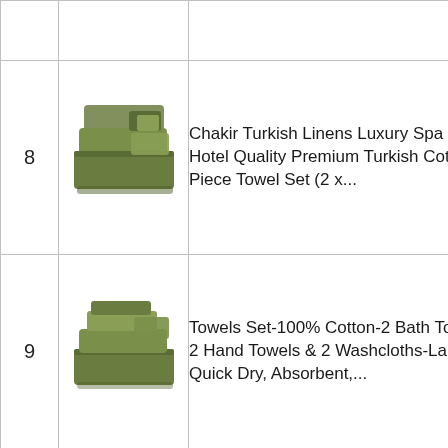| # | Image | Product | Link |
| --- | --- | --- | --- |
| 8 | [green towel set image] | Chakir Turkish Linens Luxury Spa and Hotel Quality Premium Turkish Cotton 6-Piece Towel Set (2 x... | Check on Amazon |
| 9 | [green towel set image] | Towels Set-100% Cotton-2 Bath Towels, 2 Hand Towels & 2 Washcloths-Large, Quick Dry, Absorbent,... | Check on Amazon |